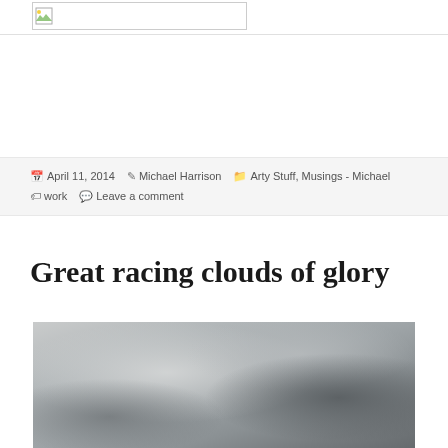[logo image]
April 11, 2014  Michael Harrison  Arty Stuff, Musings - Michael  work  Leave a comment
Great racing clouds of glory
[Figure (photo): Photograph of clouds in a grey sky, moody overcast sky with dark and light grey tones]